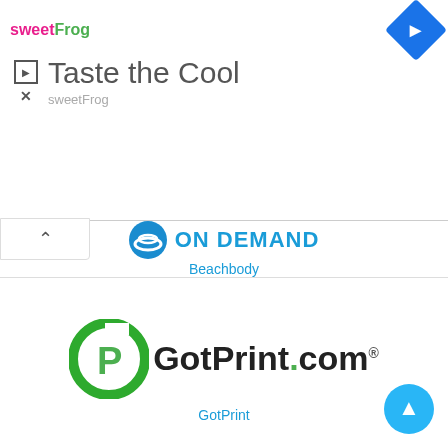[Figure (screenshot): Ad overlay at top showing sweetFrog logo and 'Taste the Cool' ad text with navigation controls]
[Figure (logo): Beachbody On Demand logo with blue swoosh circle and teal 'ON DEMAND' text]
Beachbody
[Figure (logo): GotPrint.com logo with green G and P circular letters]
GotPrint
[Figure (logo): SAFE & CHIC logo in serif font with pink ampersand]